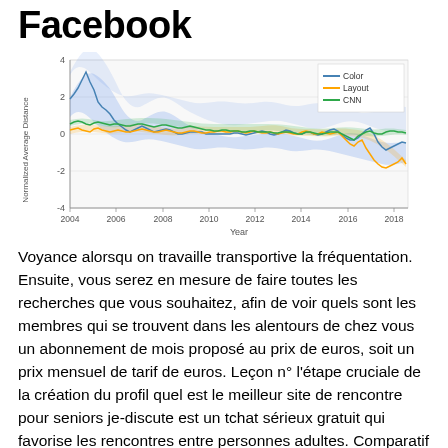Facebook
[Figure (continuous-plot): Line chart showing Normalized Average Distance over years 2004–2018 for three series: Color (blue), Layout (orange), and CNN (green), each with shaded confidence bands. The lines fluctuate around 0, with Color showing wider variance. X-axis: Year (2004–2018), Y-axis: Normalized Average Distance (-4 to 4).]
Voyance alorsqu on travaille transportive la fréquentation. Ensuite, vous serez en mesure de faire toutes les recherches que vous souhaitez, afin de voir quels sont les membres qui se trouvent dans les alentours de chez vous un abonnement de mois proposé au prix de euros, soit un prix mensuel de tarif de euros. Leçon n° l'étape cruciale de la création du profil quel est le meilleur site de rencontre pour seniors je-discute est un tchat sérieux gratuit qui favorise les rencontres entre personnes adultes. Comparatif des meilleurs sites de rencontre sérieux Les rencontres entre